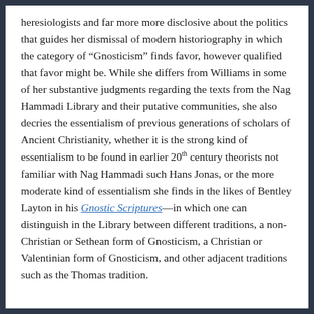heresiologists and far more more disclosive about the politics that guides her dismissal of modern historiography in which the category of “Gnosticism” finds favor, however qualified that favor might be. While she differs from Williams in some of her substantive judgments regarding the texts from the Nag Hammadi Library and their putative communities, she also decries the essentialism of previous generations of scholars of Ancient Christianity, whether it is the strong kind of essentialism to be found in earlier 20th century theorists not familiar with Nag Hammadi such Hans Jonas, or the more moderate kind of essentialism she finds in the likes of Bentley Layton in his Gnostic Scriptures—in which one can distinguish in the Library between different traditions, a non-Christian or Sethean form of Gnosticism, a Christian or Valentinian form of Gnosticism, and other adjacent traditions such as the Thomas tradition.